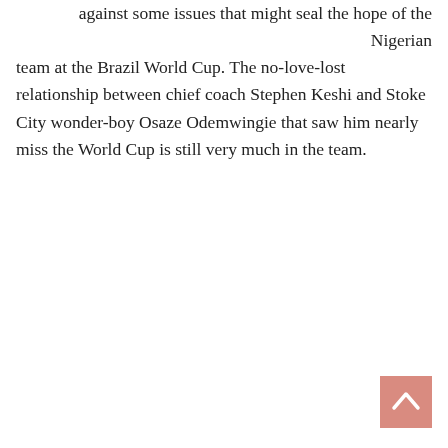against some issues that might seal the hope of the Nigerian team at the Brazil World Cup. The no-love-lost relationship between chief coach Stephen Keshi and Stoke City wonder-boy Osaze Odemwingie that saw him nearly miss the World Cup is still very much in the team.